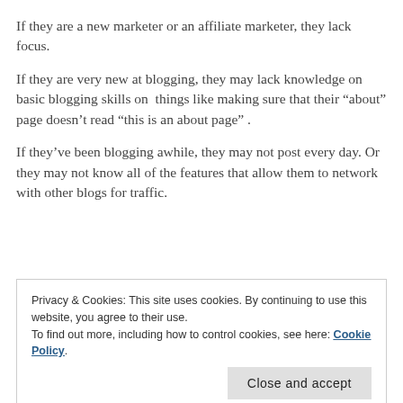If they are a new marketer or an affiliate marketer, they lack focus.
If they are very new at blogging, they may lack knowledge on basic blogging skills on things like making sure that their “about” page doesn’t read “this is an about page” .
If they’ve been blogging awhile, they may not post every day. Or they may not know all of the features that allow them to network with other blogs for traffic.
Privacy & Cookies: This site uses cookies. By continuing to use this website, you agree to their use.
To find out more, including how to control cookies, see here: Cookie Policy
I have concluded that having gaps is the most universal